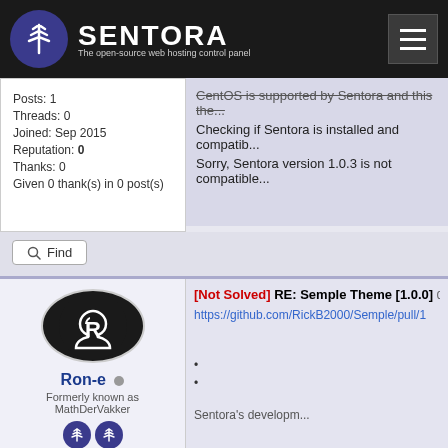SENTORA - The open-source web hosting control panel
Posts: 1
Threads: 0
Joined: Sep 2015
Reputation: 0
Thanks: 0
Given 0 thank(s) in 0 post(s)
CentOS is supported by Sentora and this the...
Checking if Sentora is installed and compatib...
Sorry, Sentora version 1.0.3 is not compatible...
Find
[Not Solved] RE: Semple Theme [1.0.0]  09-17-2015
https://github.com/RickB2000/Semple/pull/1
Ron-e
Formerly known as MathDerVakker
OS: CentOS 6.7 and 7
Version: 1.0.3
Server: Dedicated &
Sentora's developm...